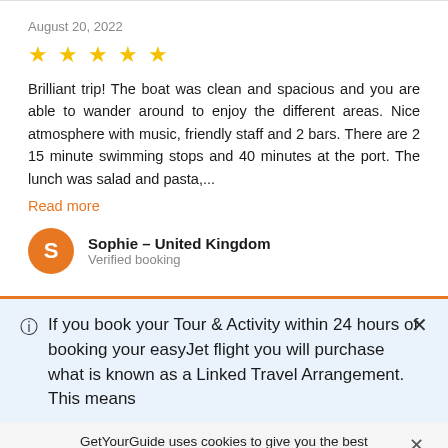August 20, 2022
[Figure (other): 5 gold stars rating]
Brilliant trip! The boat was clean and spacious and you are able to wander around to enjoy the different areas. Nice atmosphere with music, friendly staff and 2 bars. There are 2 15 minute swimming stops and 40 minutes at the port. The lunch was salad and pasta,...
Read more
Sophie — United Kingdom
Verified booking
If you book your Tour & Activity within 24 hours of booking your easyJet flight you will purchase what is known as a Linked Travel Arrangement. This means
GetYourGuide uses cookies to give you the best possible service. If you continue browsing, you agree to the use of cookies. More details can be found in our privacy policy.